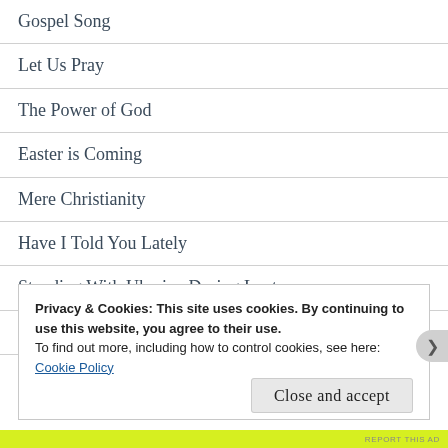Gospel Song
Let Us Pray
The Power of God
Easter is Coming
Mere Christianity
Have I Told You Lately
Standing With Ukraine During Lent
Spiritual Transformation
A Higher Purpose
Privacy & Cookies: This site uses cookies. By continuing to use this website, you agree to their use.
To find out more, including how to control cookies, see here:
Cookie Policy
Close and accept